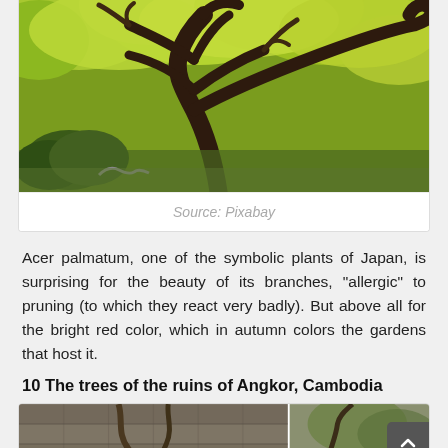[Figure (photo): Photo of a Japanese maple tree (Acer palmatum) with twisted dark branches and bright yellow-green foliage against a garden background. Source: Pixabay.]
Source: Pixabay
Acer palmatum, one of the symbolic plants of Japan, is surprising for the beauty of its branches, “allergic” to pruning (to which they react very badly). But above all for the bright red color, which in autumn colors the gardens that host it.
10 The trees of the ruins of Angkor, Cambodia
[Figure (photo): Partial photo of stone ruins overgrown with tree roots, likely from Angkor, Cambodia.]